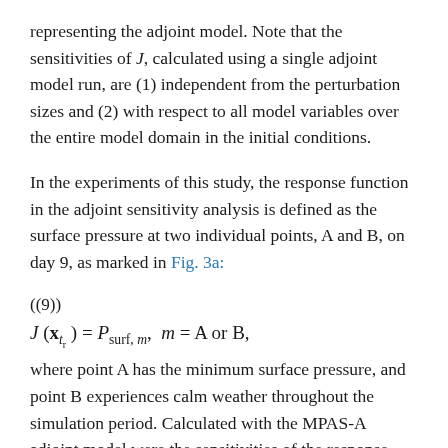representing the adjoint model. Note that the sensitivities of J, calculated using a single adjoint model run, are (1) independent from the perturbation sizes and (2) with respect to all model variables over the entire model domain in the initial conditions.
In the experiments of this study, the response function in the adjoint sensitivity analysis is defined as the surface pressure at two individual points, A and B, on day 9, as marked in Fig. 3a:
where point A has the minimum surface pressure, and point B experiences calm weather throughout the simulation period. Calculated with the MPAS-A adjoint model were the sensitivities of the response